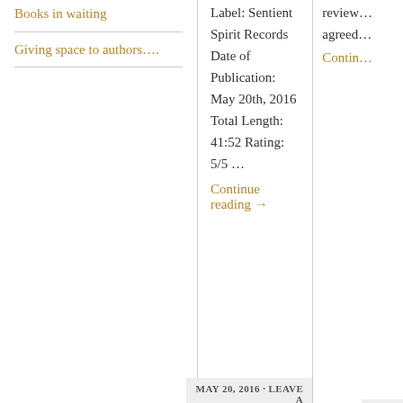Books in waiting
Giving space to authors….
Label: Sentient Spirit Records Date of Publication: May 20th, 2016 Total Length: 41:52 Rating: 5/5 …
Continue reading →
review… agreed…
Contin…
MAY 20, 2016 · LEAVE A COMMENT
NOV
Recent Posts
Fun and cake-tastrophes in the sun! – The Wedding Cake by Isabella May
8 months to find her groom – My Big Fake Wedding by Jessica Hatch – #BlogTour Fun
#SecondChanceRomance – Field Rules by Carla Luna – #Review
Moving #FamilyDrama and #Romance with plenty of surprises! – The Key to the